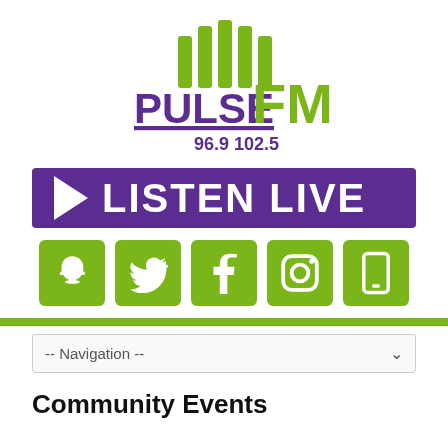[Figure (logo): Pulse FM logo with green sound wave bars above text. 'PULSE' in purple bold underlined, 'FM' in large green bold. Frequencies '96.9  102.5' in purple below.]
[Figure (infographic): Purple rectangular banner with white play triangle arrow and white bold text 'LISTEN LIVE']
[Figure (infographic): Five green square social media icon buttons: Snapchat, Twitter, Facebook, Instagram, and Mobile app]
-- Navigation --
Community Events